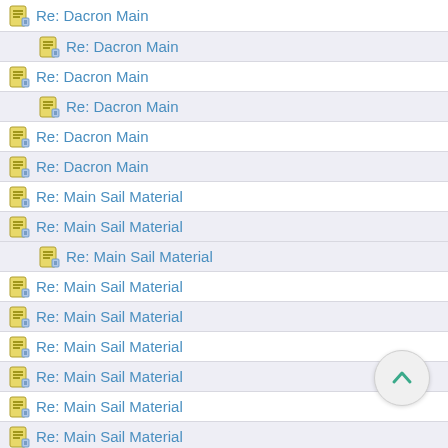Re: Dacron Main
Re: Dacron Main
Re: Dacron Main
Re: Dacron Main
Re: Dacron Main
Re: Dacron Main
Re: Main Sail Material
Re: Main Sail Material
Re: Main Sail Material
Re: Main Sail Material
Re: Main Sail Material
Re: Main Sail Material
Re: Main Sail Material
Re: Main Sail Material
Re: Main Sail Material
Re: Main Sail Material